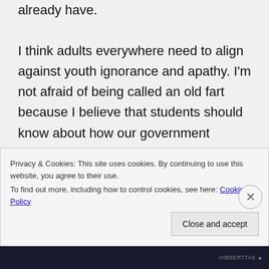already have.

I think adults everywhere need to align against youth ignorance and apathy. I'm not afraid of being called an old fart because I believe that students should know about how our government works, should read certain authors to understand how American ideology has morphed over time. As far as technology goes, I am not anti-technology: I have a blog, 3 email addresses, a Facebook account linked to a
Privacy & Cookies: This site uses cookies. By continuing to use this website, you agree to their use.
To find out more, including how to control cookies, see here: Cookie Policy
Close and accept
HIBBERTTAS ▲